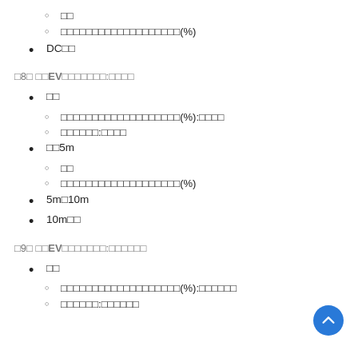□□
□□□□□□□□□□□□□□□□□□□(%)
DC□□
□8□ □□EV□□□□□□□:□□□□
□□
□□□□□□□□□□□□□□□□□□□(%):□□□□
□□□□□□:□□□□
□□5m
□□
□□□□□□□□□□□□□□□□□□□(%)
5m□10m
10m□□
□9□ □□EV□□□□□□□:□□□□□□
□□
□□□□□□□□□□□□□□□□□□□(%):□□□□□□
□□□□□□:□□□□□□